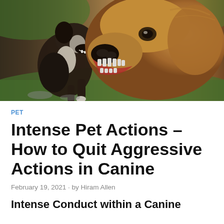[Figure (photo): Two dogs in an aggressive confrontation — a black and white Boston Terrier-type dog on the left rearing up, and a golden/tan Labrador-type dog on the right with mouth open showing teeth, set against a green outdoor background.]
PET
Intense Pet Actions – How to Quit Aggressive Actions in Canine
February 19, 2021 - by Hiram Allen
Intense Conduct within a Canine